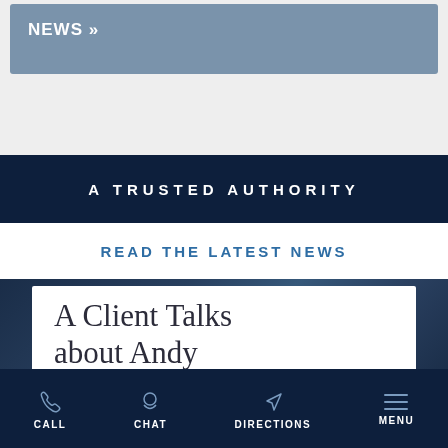NEWS »
A TRUSTED AUTHORITY
READ THE LATEST NEWS
A Client Talks about Andy
CALL  CHAT  DIRECTIONS  MENU